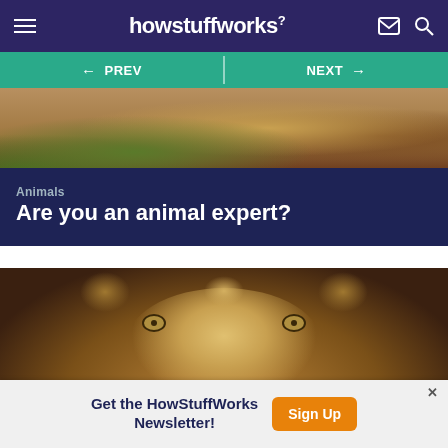howstuffworks
[Figure (screenshot): HowStuffWorks website header with hamburger menu icon on left, howstuffworks? logo in center on dark navy background, mail and search icons on right]
[Figure (screenshot): Navigation bar with PREV (left arrow) and NEXT (right arrow) buttons on teal/green background]
[Figure (photo): Partial animal photo showing fur/coat detail, brown and golden tones with green grass visible]
Animals
Are you an animal expert?
[Figure (photo): Close-up photo of a male lion's face with golden eyes and full mane, looking directly at camera]
Get the HowStuffWorks Newsletter!
Sign Up